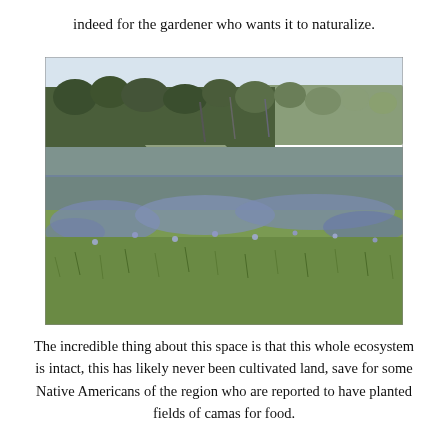indeed for the gardener who wants it to naturalize.
[Figure (photo): A wide field covered with blooming blue-purple camas flowers stretching across rolling grassland, with a treeline of bare deciduous trees in the background and a pale sky above.]
The incredible thing about this space is that this whole ecosystem is intact, this has likely never been cultivated land, save for some Native Americans of the region who are reported to have planted fields of camas for food.